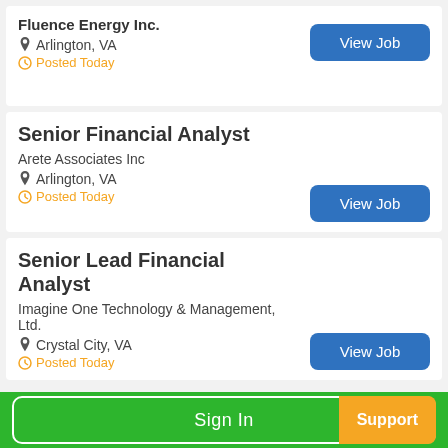Fluence Energy Inc.
Arlington, VA
Posted Today
Senior Financial Analyst
Arete Associates Inc
Arlington, VA
Posted Today
Senior Lead Financial Analyst
Imagine One Technology & Management, Ltd.
Crystal City, VA
Posted Today
Sign In  Support